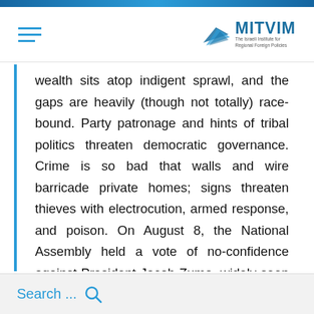MITVIM – The Israeli Institute for Regional Foreign Policies
wealth sits atop indigent sprawl, and the gaps are heavily (though not totally) race-bound. Party patronage and hints of tribal politics threaten democratic governance. Crime is so bad that walls and wire barricade private homes; signs threaten thieves with electrocution, armed response, and poison. On August 8, the National Assembly held a vote of no-confidence against President Jacob Zuma, widely seen as corrupt, but failed
Search ...